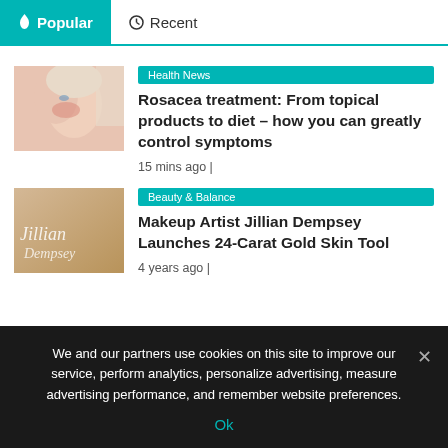🔥 Popular  🕐 Recent
[Figure (photo): Photo of a woman with rosacea/skin issue on cheek]
Health News
Rosacea treatment: From topical products to diet – how you can greatly control symptoms
15 mins ago |
[Figure (photo): Jillian Dempsey gold skin tool product image with cursive signature logo]
Beauty & Balance
Makeup Artist Jillian Dempsey Launches 24-Carat Gold Skin Tool
4 years ago |
We and our partners use cookies on this site to improve our service, perform analytics, personalize advertising, measure advertising performance, and remember website preferences.
Ok